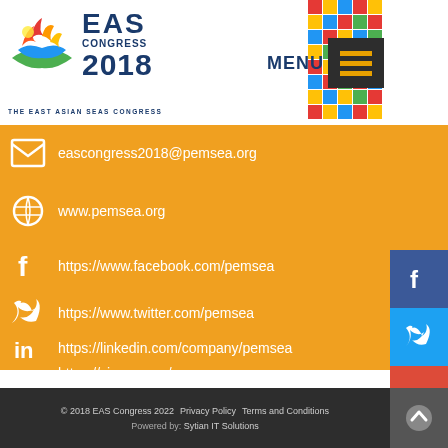[Figure (logo): EAS Congress 2018 logo with colorful flame/wave icon and text 'THE EAST ASIAN SEAS CONGRESS']
MENU
eascongress2018@pemsea.org
www.pemsea.org
https://www.facebook.com/pemsea
https://www.twitter.com/pemsea
https://linkedin.com/company/pemsea
https://vimeo.com/pemsea
© 2018 EAS Congress 2022    Privacy Policy  Terms and Conditions
Powered by: Sytian IT Solutions